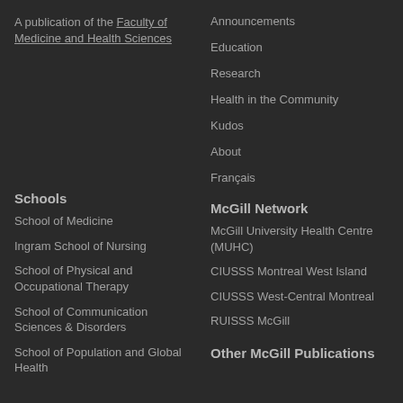A publication of the Faculty of Medicine and Health Sciences
Announcements
Education
Research
Health in the Community
Kudos
About
Français
Schools
McGill Network
School of Medicine
McGill University Health Centre (MUHC)
Ingram School of Nursing
CIUSSS Montreal West Island
School of Physical and Occupational Therapy
CIUSSS West-Central Montreal
School of Communication Sciences & Disorders
RUISSS McGill
School of Population and Global Health
Other McGill Publications